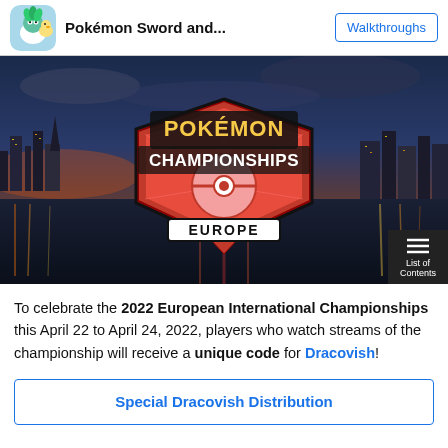Pokémon Sword and...   Walkthroughs
[Figure (illustration): Pokémon Championships Europe logo overlaid on a nighttime city skyline with colorful reflections on water]
To celebrate the 2022 European International Championships this April 22 to April 24, 2022, players who watch streams of the championship will receive a unique code for Dracovish!
Special Dracovish Distribution